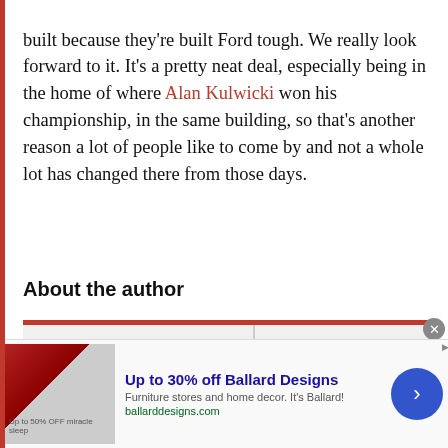built because they're built Ford tough. We really look forward to it. It's a pretty neat deal, especially being in the home of where Alan Kulwicki won his championship, in the same building, so that's another reason a lot of people like to come by and not a whole lot has changed there from those days.
About the author
[Figure (screenshot): Author box with a red top border, quill/pen icon on the left half and a copy/duplicate icon on the right half, with a sub-card and logo card below]
[Figure (infographic): Advertisement banner for Ballard Designs: 'Up to 30% off Ballard Designs. Furniture stores and home decor. It's Ballard! ballarddesigns.com' with ad image, close button, and arrow navigation button]